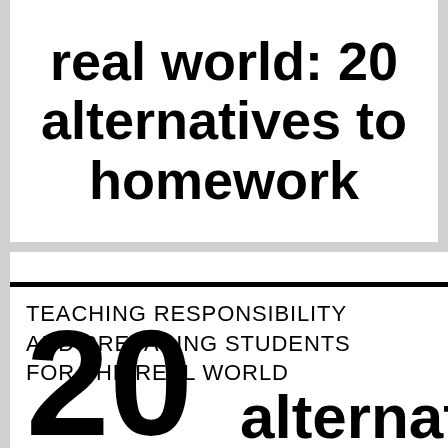real world: 20 alternatives to homework
TEACHING RESPONSIBILITY and PREPARING STUDENTS FOR THE REAL WORLD
20 alternatives